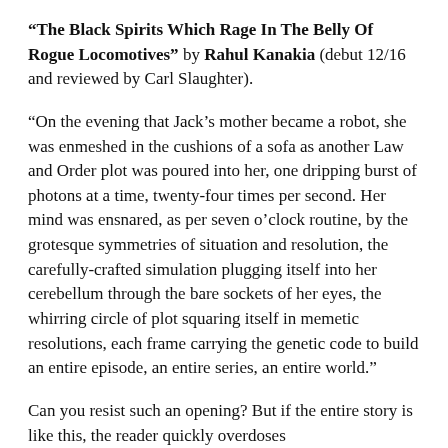“The Black Spirits Which Rage In The Belly Of Rogue Locomotives” by Rahul Kanakia (debut 12/16 and reviewed by Carl Slaughter).
“On the evening that Jack’s mother became a robot, she was enmeshed in the cushions of a sofa as another Law and Order plot was poured into her, one dripping burst of photons at a time, twenty-four times per second. Her mind was ensnared, as per seven o’clock routine, by the grotesque symmetries of situation and resolution, the carefully-crafted simulation plugging itself into her cerebellum through the bare sockets of her eyes, the whirring circle of plot squaring itself in memetic resolutions, each frame carrying the genetic code to build an entire episode, an entire series, an entire world.”
Can you resist such an opening? But if the entire story is like this, the reader quickly overdoses